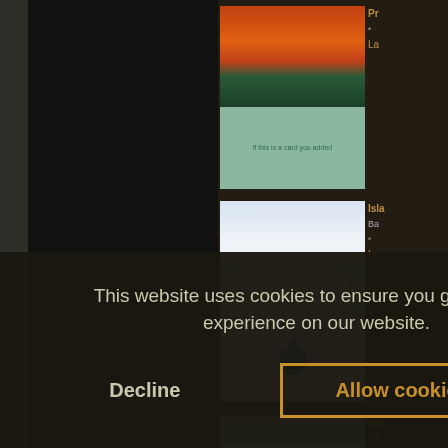[Figure (screenshot): Magic: The Gathering card database website screenshot showing dark UI with card thumbnails in right sidebar. Main area shows a dark card viewing panel. Cookie consent banner overlaid at bottom.]
This website uses cookies to ensure you get the best experience on our website.
Decline
Allow cookies